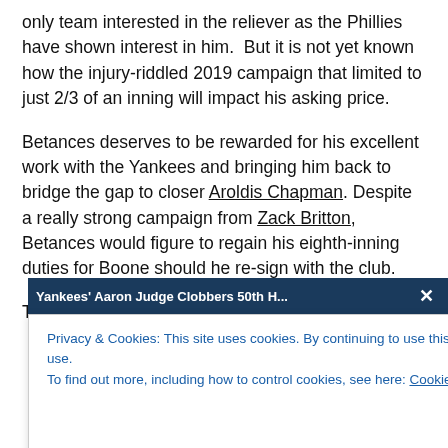only team interested in the reliever as the Phillies have shown interest in him. But it is not yet known how the injury-riddled 2019 campaign that limited to just 2/3 of an inning will impact his asking price.
Betances deserves to be rewarded for his excellent work with the Yankees and bringing him back to bridge the gap to closer Aroldis Chapman. Despite a really strong campaign from Zack Britton, Betances would figure to regain his eighth-inning duties for Boone should he re-sign with the club.
The only question is w...
[Figure (screenshot): Notification bar overlay reading: Yankees' Aaron Judge Clobbers 50th H... with a close (X) button, overlapping the main article text.]
Privacy & Cookies: This site uses cookies. By continuing to use this website, you agree to their use.
To find out more, including how to control cookies, see here: Cookie Policy